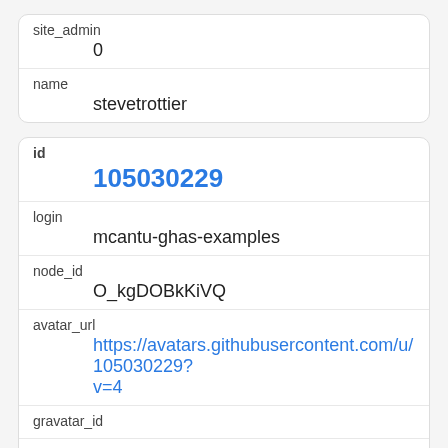| site_admin | 0 |
| name | stevetrottier |
| id | 105030229 |
| login | mcantu-ghas-examples |
| node_id | O_kgDOBkKiVQ |
| avatar_url | https://avatars.githubusercontent.com/u/105030229?v=4 |
| gravatar_id |  |
| html_url | https://github.com/mcantu-ghas-examples |
| type |  |